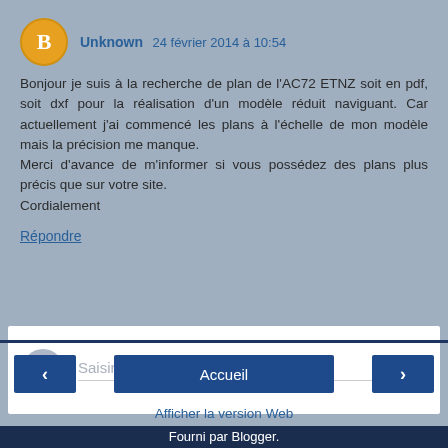Unknown 24 février 2014 à 10:54
Bonjour je suis à la recherche de plan de l'AC72 ETNZ soit en pdf, soit dxf pour la réalisation d'un modèle réduit naviguant. Car actuellement j'ai commencé les plans à l'échelle de mon modèle mais la précision me manque. Merci d'avance de m'informer si vous possédez des plans plus précis que sur votre site. Cordialement
Répondre
Saisir un commentaire
‹
Accueil
›
Afficher la version Web
Fourni par Blogger.